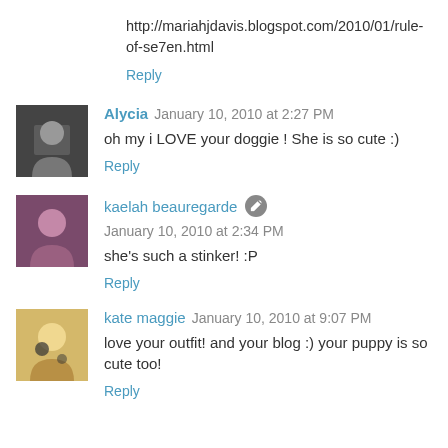http://mariahjdavis.blogspot.com/2010/01/rule-of-se7en.html
Reply
Alycia  January 10, 2010 at 2:27 PM
oh my i LOVE your doggie ! She is so cute :)
Reply
kaelah beauregarde  January 10, 2010 at 2:34 PM
she's such a stinker! :P
Reply
kate maggie  January 10, 2010 at 9:07 PM
love your outfit! and your blog :) your puppy is so cute too!
Reply